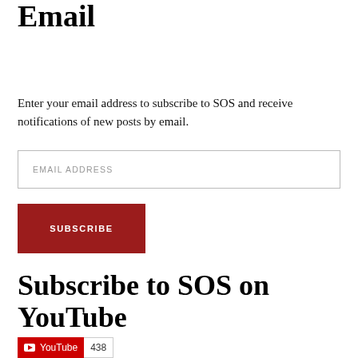Subscribe to SOS via Email
Enter your email address to subscribe to SOS and receive notifications of new posts by email.
EMAIL ADDRESS
SUBSCRIBE
Subscribe to SOS on YouTube
[Figure (other): YouTube subscribe button showing channel name YouTube and subscriber count 438]